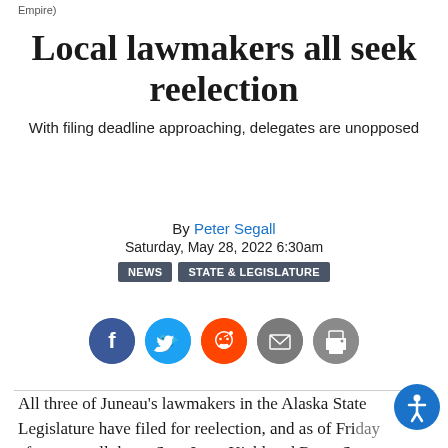Empire)
Local lawmakers all seek reelection
With filing deadline approaching, delegates are unopposed
By Peter Segall
Saturday, May 28, 2022 6:30am
NEWS  STATE & LEGISLATURE
[Figure (other): Social share buttons: Facebook, Twitter, Reddit, Email, Print]
All three of Juneau’s lawmakers in the Alaska State Legislature have filed for reelection, and as of Friday afternoon, all three, Sen. Jesse Kiehl and Reps. S...